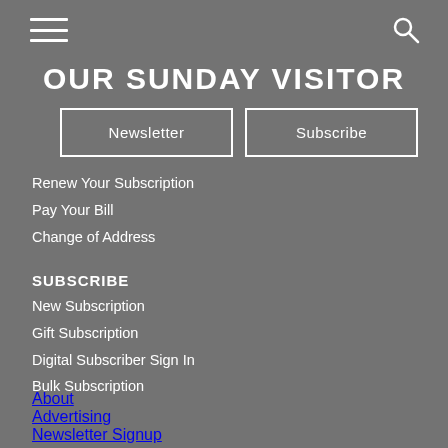OUR SUNDAY VISITOR
Newsletter
Subscribe
Renew Your Subscription
Pay Your Bill
Change of Address
SUBSCRIBE
New Subscription
Gift Subscription
Digital Subscriber Sign In
Bulk Subscription
About
Advertising
Newsletter Signup